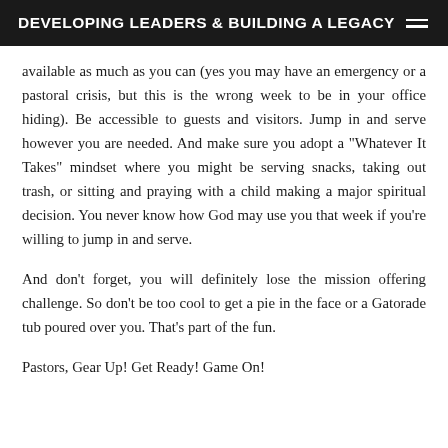DEVELOPING LEADERS & BUILDING A LEGACY
available as much as you can (yes you may have an emergency or a pastoral crisis, but this is the wrong week to be in your office hiding). Be accessible to guests and visitors. Jump in and serve however you are needed. And make sure you adopt a "Whatever It Takes" mindset where you might be serving snacks, taking out trash, or sitting and praying with a child making a major spiritual decision. You never know how God may use you that week if you're willing to jump in and serve.
And don't forget, you will definitely lose the mission offering challenge. So don't be too cool to get a pie in the face or a Gatorade tub poured over you. That's part of the fun.
Pastors, Gear Up! Get Ready! Game On!